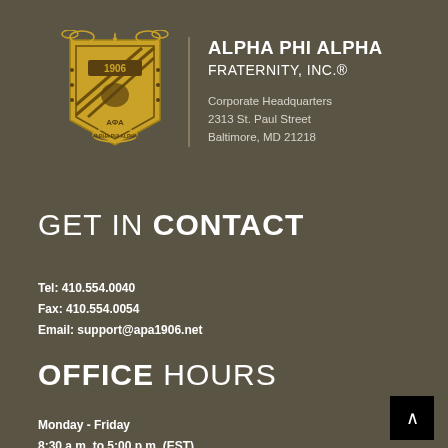[Figure (logo): Alpha Phi Alpha Fraternity crest/shield in gold and white on dark background]
ALPHA PHI ALPHA FRATERNITY, INC.®
Corporate Headquarters
2313 St. Paul Street
Baltimore, MD 21218
GET IN CONTACT
Tel: 410.554.0040
Fax: 410.554.0054
Email: support@apa1906.net
OFFICE HOURS
Monday - Friday
8:30 a.m. to 5:00 p.m. (EST)